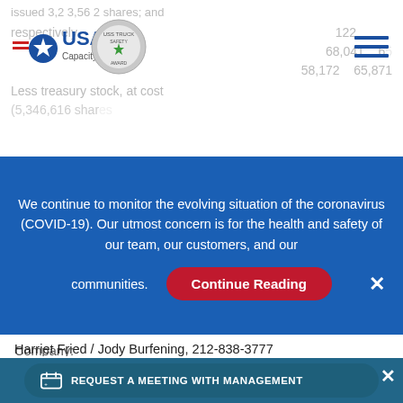issued 3,2 3,56 2 shares; and respectively   122   68,041   58,172   65,871
[Figure (logo): USAT Capacity Solutions logo with star badge]
Less treasury stock, at cost (5,346,616 shares)
We continue to monitor the evolving situation of the coronavirus (COVID-19). Our utmost concern is for the health and safety of our team, our customers, and our communities.
Continue Reading
Company:
USA Truck, Inc.
Joseph Kaiser, PFO & CAO, 479-471-2672
Joseph.kaiser@usa-truck.com
or
Investor Relations:
LHA
Harriet Fried / Jody Burfening, 212-838-3777
bfried@lhai.com
REQUEST A MEETING WITH MANAGEMENT